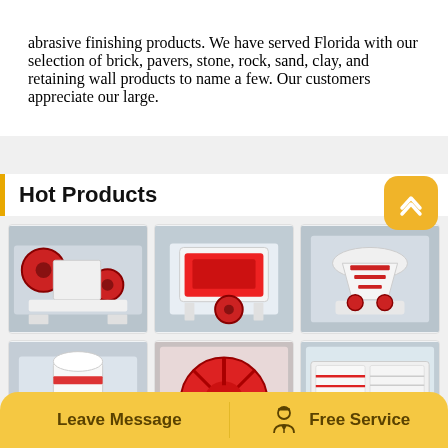abrasive finishing products. We have served Florida with our selection of brick, pavers, stone, rock, sand, clay, and retaining wall products to name a few. Our customers appreciate our large.
Hot Products
[Figure (photo): Industrial jaw crusher machine with red and white colors in a factory setting]
[Figure (photo): Industrial impact crusher machine with red and white colors in a factory]
[Figure (photo): Cone crusher machine with red and white colors in a factory]
[Figure (photo): White industrial machine in factory setting]
[Figure (photo): Close-up of large red industrial crusher component]
[Figure (photo): Red and white industrial screening or washing equipment]